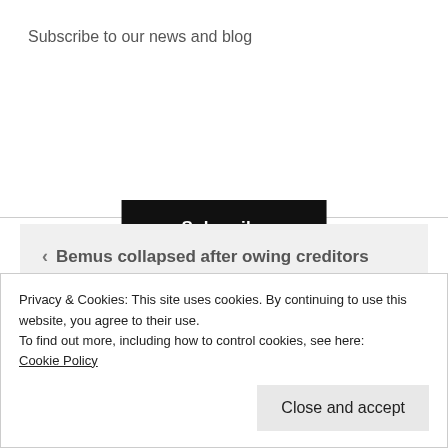×
Subscribe to our news and blog
Subscribe
‹ Bemus collapsed after owing creditors £4.6m
Pirti Patel rejects recommendations to let in foreign brickies ›
Privacy & Cookies: This site uses cookies. By continuing to use this website, you agree to their use.
To find out more, including how to control cookies, see here:
Cookie Policy
Close and accept